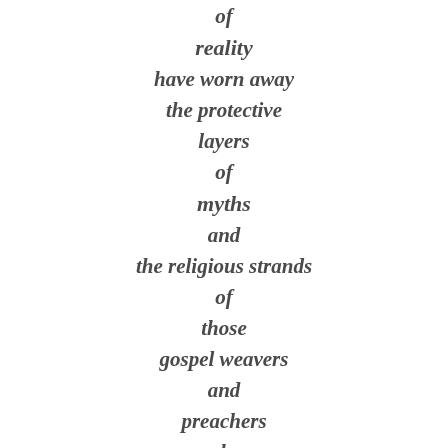of
reality
have worn away
the protective
layers
of
myths
and
the religious strands
of
those
gospel weavers
and
preachers
who